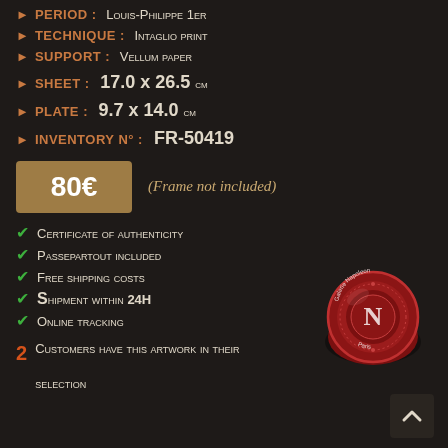PERIOD : Louis-Philippe 1er
TECHNIQUE : Intaglio print
SUPPORT : Vellum paper
SHEET : 17.0 x 26.5 cm
PLATE : 9.7 x 14.0 cm
INVENTORY N° : FR-50419
80€   (Frame not included)
✓ Certificate of authenticity
✓ Passepartout included
✓ Free shipping costs
✓ Shipment within 24H
✓ Online tracking
[Figure (illustration): Red wax seal with letter N and text Galerie Napoleon Paris]
2 Customers have this artwork in their selection